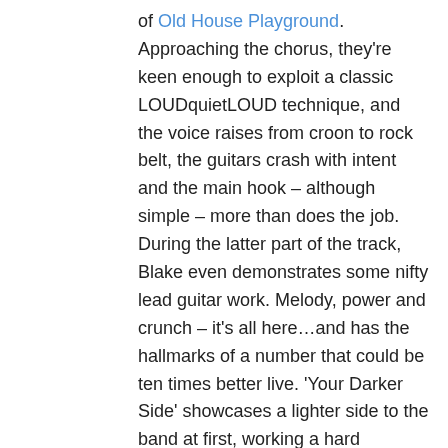of Old House Playground. Approaching the chorus, they're keen enough to exploit a classic LOUDquietLOUD technique, and the voice raises from croon to rock belt, the guitars crash with intent and the main hook – although simple – more than does the job. During the latter part of the track, Blake even demonstrates some nifty lead guitar work. Melody, power and crunch – it's all here…and has the hallmarks of a number that could be ten times better live. 'Your Darker Side' showcases a lighter side to the band at first, working a hard bassline over a clean lead guitar riff. An understated, croony vocal sounds great while heavy toms create a tough backline on the drums. It's rocky – again, a little 90s in intent – and very radio friendly. Crashing into the chorus, the band take the opportunity to drive home a tough riff; something simple-ish, but something that delivers the goods. A louder vocal here works less well, but an edgy lead guitar break is soon on hand to entertain. In all, not as good as the opener, but 'Your Darker Side' shows that Paradigm really understand the importance of a good riff and easily digestible hook.